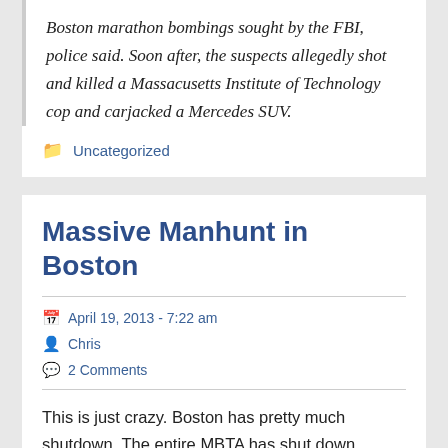Boston marathon bombings sought by the FBI, police said. Soon after, the suspects allegedly shot and killed a Massacusetts Institute of Technology cop and carjacked a Mercedes SUV.
Uncategorized
Massive Manhunt in Boston
April 19, 2013 - 7:22 am
Chris
2 Comments
This is just crazy. Boston has pretty much shutdown. The entire MBTA has shut down including commuter trains